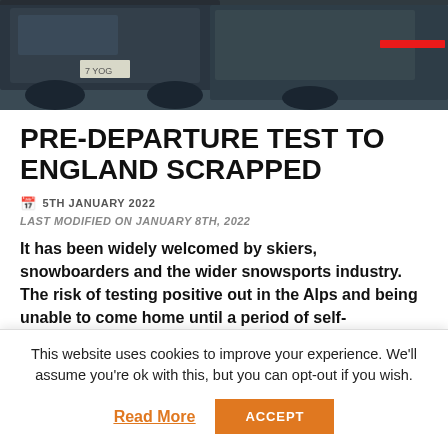[Figure (photo): Overhead view of cars in a parking area or road, dark tones, one car has red tail lights visible]
PRE-DEPARTURE TEST TO ENGLAND SCRAPPED
5TH JANUARY 2022
LAST MODIFIED ON JANUARY 8TH, 2022
It has been widely welcomed by skiers, snowboarders and the wider snowsports industry. The risk of testing positive out in the Alps and being unable to come home until a period of self-
This website uses cookies to improve your experience. We'll assume you're ok with this, but you can opt-out if you wish.